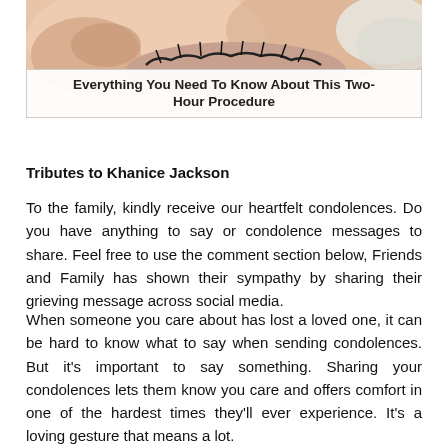[Figure (photo): Close-up photo of a person's eye with gloved hands touching the eyebrow area, with an overlaid title caption box at the bottom reading 'Everything You Need To Know About This Two-Hour Procedure']
Everything You Need To Know About This Two-Hour Procedure
Tributes to Khanice Jackson
To the family, kindly receive our heartfelt condolences. Do you have anything to say or condolence messages to share. Feel free to use the comment section below, Friends and Family has shown their sympathy by sharing their grieving message across social media.
When someone you care about has lost a loved one, it can be hard to know what to say when sending condolences. But it's important to say something. Sharing your condolences lets them know you care and offers comfort in one of the hardest times they'll ever experience. It's a loving gesture that means a lot.